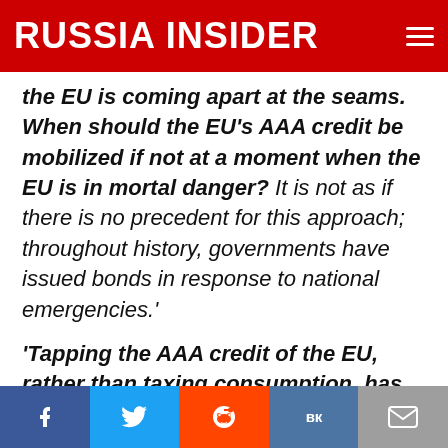RUSSIA INSIDER
the EU is coming apart at the seams. When should the EU's AAA credit be mobilized if not at a moment when the EU is in mortal danger? It is not as if there is no precedent for this approach; throughout history, governments have issued bonds in response to national emergencies.'
'Tapping the AAA credit of the EU, rather than taxing consumption, has the additional advantage of providing much-needed economic stimulus for Europe. The amounts involved are large enough to be of